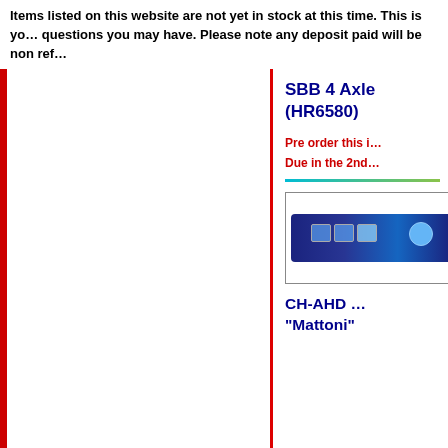Items listed on this website are not yet in stock at this time. This is your opportunity to pre-order, questions you may have. Please note any deposit paid will be non ref...
[Figure (illustration): Left column with red vertical bar on left edge and vertical divider line on right]
SBB 4 Axle... (HR6580)
Pre order this item
Due in the 2nd...
[Figure (photo): Model train image - dark blue/navy 4-axle freight wagon with windows and logo]
CH-AHD ... "Mattoni"
Copyright 2022 Future. All Rights Reserved